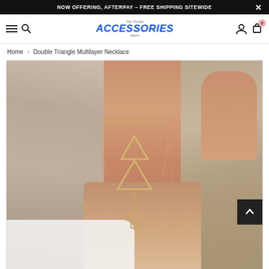NOW OFFERING, AFTERPAY – FREE SHIPPING SITEWIDE
[Figure (screenshot): Navigation bar with hamburger menu, search icon, 'The Trendy Accessories Store' logo, user icon, and cart icon showing 0 items]
Home > Double Triangle Multilayer Necklace
[Figure (photo): Woman wearing a multilayer gold necklace featuring double triangle pendants and a bar pendant, with long blonde-grey hair, wearing a white lace top]